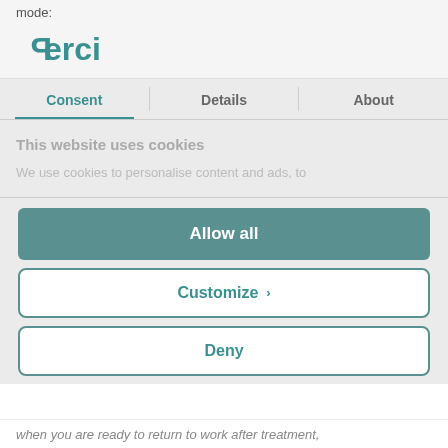mode:
[Figure (logo): Perci logo in teal with reversed P character]
Consent | Details | About
This website uses cookies
We use cookies to personalise content and ads, to
Allow all
Customize >
Deny
when you are ready to return to work after treatment,